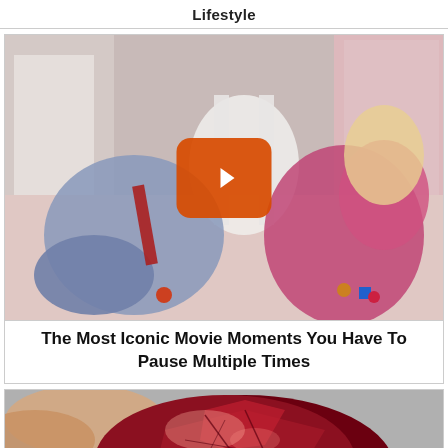Lifestyle
[Figure (photo): Movie still showing a man in a blue shirt and tie crawling on a pink floor toward a woman in a pink dress sitting against a wall, with a white rocking chair in the background. A YouTube-style play button overlay is visible in the center.]
The Most Iconic Movie Moments You Have To Pause Multiple Times
[Figure (photo): Close-up photo of a large dark red/maroon gemstone or crystal being held between fingers, with light reflecting off its faceted surface.]